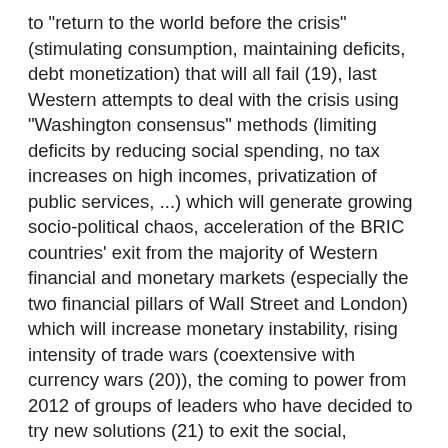to "return to the world before the crisis" (stimulating consumption, maintaining deficits, debt monetization) that will all fail (19), last Western attempts to deal with the crisis using "Washington consensus" methods (limiting deficits by reducing social spending, no tax increases on high incomes, privatization of public services, ...) which will generate growing socio-political chaos, acceleration of the BRIC countries' exit from the majority of Western financial and monetary markets (especially the two financial pillars of Wall Street and London) which will increase monetary instability, rising intensity of trade wars (coextensive with currency wars (20)), the coming to power from 2012 of groups of leaders who have decided to try new solutions (21) to exit the social, economic and political consequences of the crisis, taking note of the fact that the “Washington consensus” is dead ... because there is no consensus anymore and because Washington is a moribund world power.
As for the rest, the keeping the US debt’s Triple-A rating belongs to the same virtual world as the recent declaration by US economic authorities (22) of the end of recession: the growing disconnect between the words of a collapsing